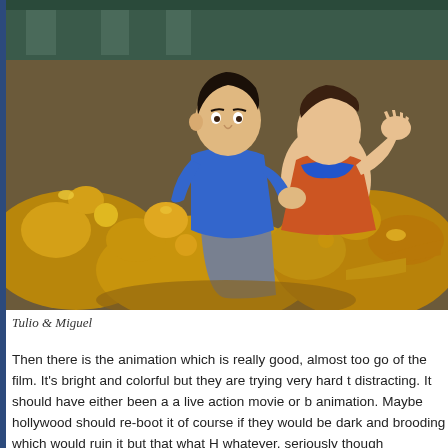[Figure (illustration): Animated movie still showing two characters (Tulio and Miguel) sitting on a pile of golden treasure/artifacts. The characters are from the animated film The Road to El Dorado.]
Tulio & Miguel
Then there is the animation which is really good, almost too go of the film. It's bright and colorful but they are trying very hard t distracting. It should have either been a a live action movie or b animation. Maybe hollywood should re-boot it of course if they would be dark and brooding which would ruin it but that what H whatever, seriously though Hollywood don't, what you're doing stop.